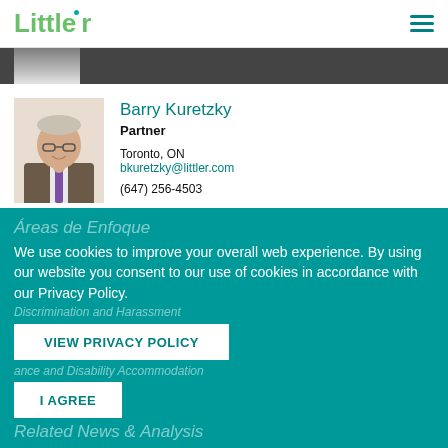Littler
[Figure (photo): Partial photo of a person at the top of the page, cropped]
[Figure (photo): Professional headshot of Barry Kuretzky, a man in a suit with glasses]
Barry Kuretzky
Partner
Toronto, ON
bkuretzky@littler.com
(647) 256-4503
Áreas de Enfoque
We use cookies to improve your overall web experience. By using our website you consent to our use of cookies in accordance with our Privacy Policy.
Discrimination and Harassment
VIEW PRIVACY POLICY
I AGREE
ance and Disability Accommodation
Related News & Analysis